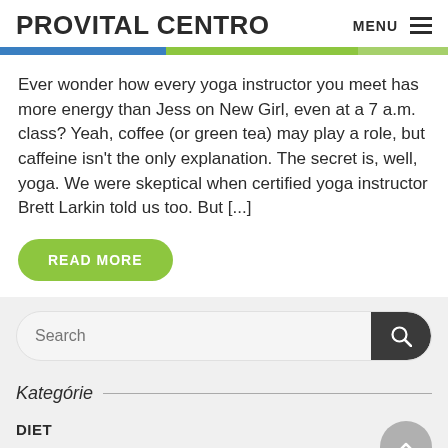PROVITAL CENTRO
Ever wonder how every yoga instructor you meet has more energy than Jess on New Girl, even at a 7 a.m. class? Yeah, coffee (or green tea) may play a role, but caffeine isn't the only explanation. The secret is, well, yoga. We were skeptical when certified yoga instructor Brett Larkin told us too. But [...]
READ MORE
Kategórie
DIET
FITNESS CONSULTING
MOTIVATION